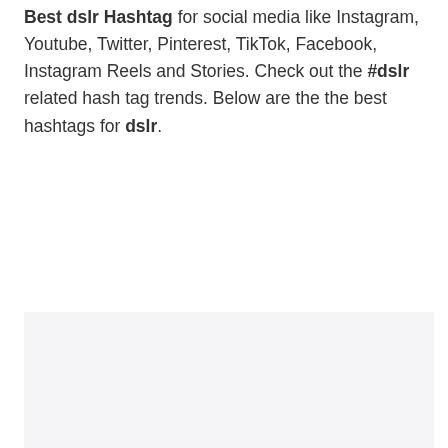Best dslr Hashtag for social media like Instagram, Youtube, Twitter, Pinterest, TikTok, Facebook, Instagram Reels and Stories. Check out the #dslr related hash tag trends. Below are the the best hashtags for dslr.